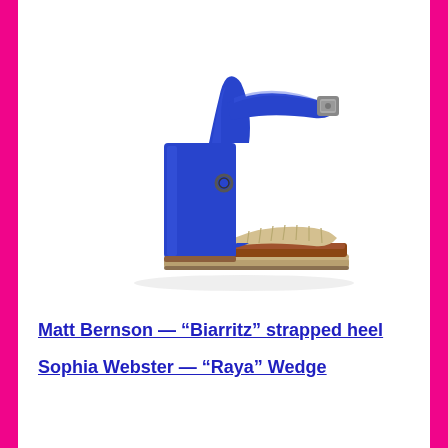[Figure (photo): A blue suede strapped high-heel sandal with a chunky block heel and a beige/natural woven toe strap and platform sole, shown on a white background in profile view.]
Matt Bernson — “Biarritz” strapped heel
Sophia Webster — “Raya” Wedge